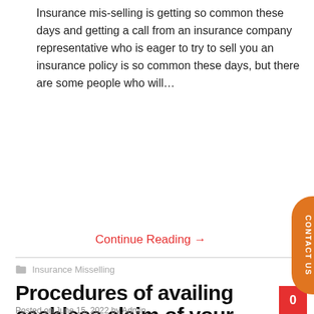Insurance mis-selling is getting so common these days and getting a call from an insurance company representative who is eager to try to sell you an insurance policy is so common these days, but there are some people who will…
Continue Reading →
Insurance Misselling
Procedures of availing cashless claim of your Health Insurance Policy
Posted on June 15, 2022 by Admin